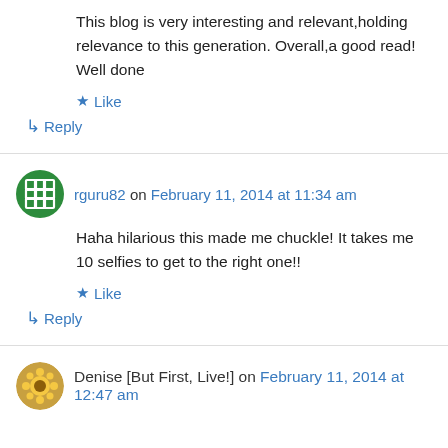This blog is very interesting and relevant,holding relevance to this generation. Overall,a good read! Well done
★ Like
↳ Reply
rguru82 on February 11, 2014 at 11:34 am
Haha hilarious this made me chuckle! It takes me 10 selfies to get to the right one!!
★ Like
↳ Reply
Denise [But First, Live!] on February 11, 2014 at 12:47 am